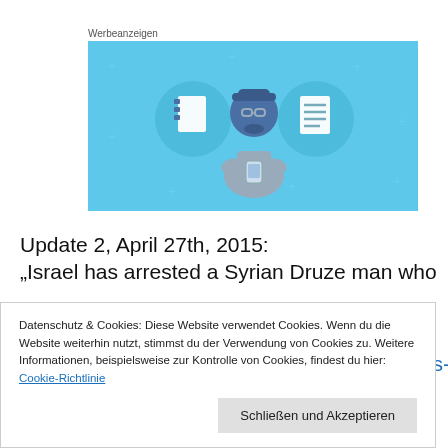Werbeanzeigen
[Figure (illustration): Blue banner ad with cartoon illustration of a person looking at a smartphone, flanked by two circular icons showing a notebook and a lined document, on a light blue background with decorative plus signs.]
Update 2, April 27th, 2015: „Israel has arrested a Syrian Druze man who
Datenschutz & Cookies: Diese Website verwendet Cookies. Wenn du die Website weiterhin nutzt, stimmst du der Verwendung von Cookies zu. Weitere Informationen, beispielsweise zur Kontrolle von Cookies, findest du hier: Cookie-Richtlinie
Schließen und Akzeptieren